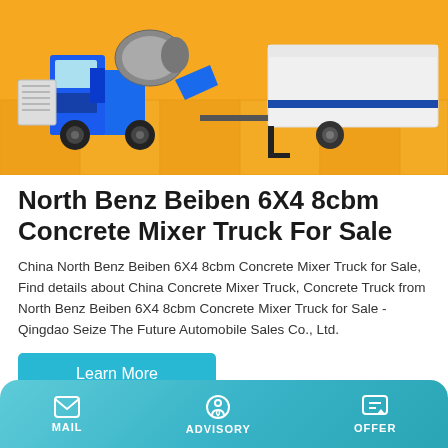[Figure (photo): Product photo of North Benz Beiben 6X4 concrete mixer truck and trailer on orange/yellow background]
North Benz Beiben 6X4 8cbm Concrete Mixer Truck For Sale
China North Benz Beiben 6X4 8cbm Concrete Mixer Truck for Sale, Find details about China Concrete Mixer Truck, Concrete Truck from North Benz Beiben 6X4 8cbm Concrete Mixer Truck for Sale - Qingdao Seize The Future Automobile Sales Co., Ltd.
Learn More
MAIL   ADVISORY   OFFER